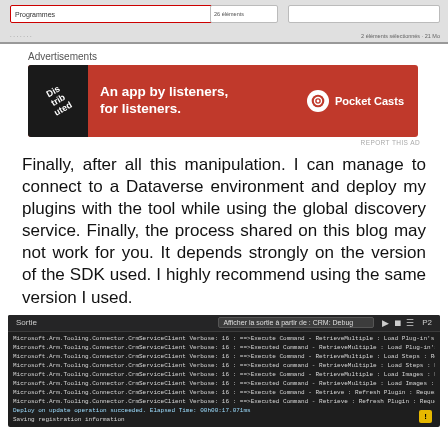[Figure (screenshot): Browser/application header bar screenshot showing navigation elements and address bar]
[Figure (screenshot): Advertisement banner for Pocket Casts: 'An app by listeners, for listeners.' with red background]
Finally, after all this manipulation. I can manage to connect to a Dataverse environment and deploy my plugins with the tool while using the global discovery service. Finally, the process shared on this blog may not work for you. It depends strongly on the version of the SDK used. I highly recommend using the same version I used.
[Figure (screenshot): Dark terminal/output window showing Microsoft.Arm.Tooling.Connector.CrmServiceClient Verbose log lines with Execute Command and RetrieveMultiple operations. Title bar shows 'Sortie'. Dropdown shows 'Afficher la sortie à partir de: CRM: Debug']